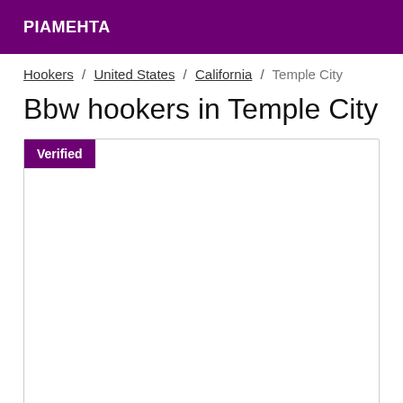PIAMEHTA
Hookers / United States / California / Temple City
Bbw hookers in Temple City
[Figure (other): Listing card with a purple 'Verified' badge in the top-left corner, white content area with border]